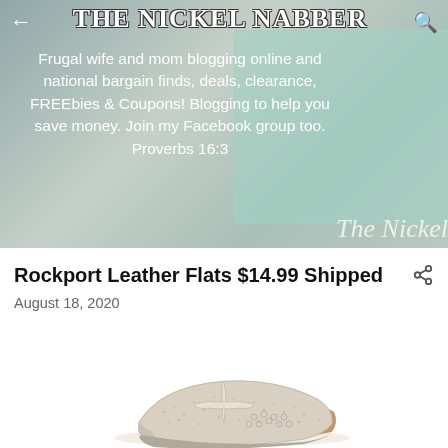THE NICKEL NABBER
Frugal wife and mom blogging online and national bargain finds, deals, clearance, FREEbies & Coupons! Blogging to help you save money. Join my Facebook group too. Proverbs 16:3
Rockport Leather Flats $14.99 Shipped
August 18, 2020
[Figure (photo): A silver/white Rockport leather flat shoe with cutout detailing and t-strap design, shown on a white background.]